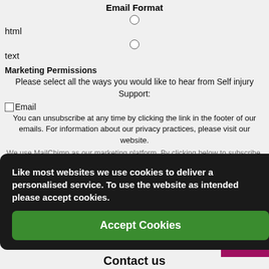Email Format
html
text
Marketing Permissions
Please select all the ways you would like to hear from Self injury Support:
Email
You can unsubscribe at any time by clicking the link in the footer of our emails. For information about our privacy practices, please visit our website.
We use MailChimp as our marketing platform. By clicking below to subscribe, you acknowledge that your information will be transferred to MailChimp for processing. See MailChimp's privacy practices here.
Like most websites we use cookies to deliver a personalised service. To use the website as intended please accept cookies.
Accept Cookies
Contact us